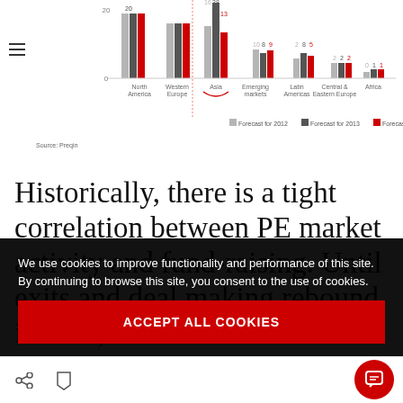[Figure (grouped-bar-chart): LP Appetite by Region]
Source: Preqin
Historically, there is a tight correlation between PE market activity and fund-raising. Until exits and deal making rebound in Asia, LPs will be reluctant to increase their allocations to the region. As we’ve noted, LPs in Asia have been
We use cookies to improve functionality and performance of this site. By continuing to browse this site, you consent to the use of cookies.
ACCEPT ALL COOKIES